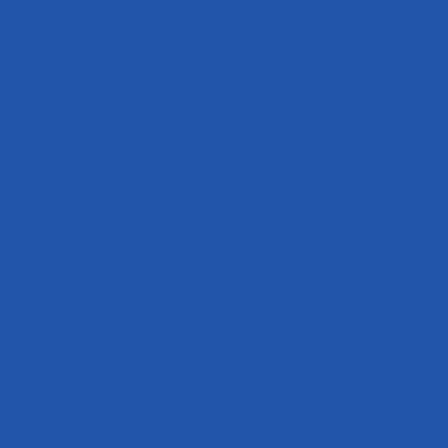Time: Very long
Playable from either side: yes Medium as p
Enjoyability 3

Special conditions: This is a night scenario
February 25th, 2021, 08:11 PM
DRG Offline
Shrapnel Fanatic
Re: Scenario reviews
It will be a while before you get to it but..

scenario 0076 - 76 HG Regiment in Norwa
and
scenario 0664 - Rolling Stones 4/40

are two scenarios of the exact same battle
[Figure (screenshot): Banner image showing CAMO WOR text on dark background with tank icon]
The Following 3 Users Say Thank You